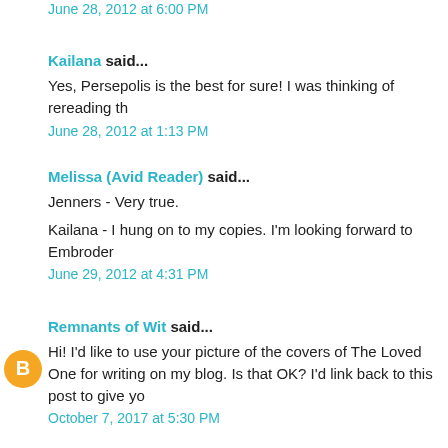June 28, 2012 at 6:00 PM
Kailana said...
Yes, Persepolis is the best for sure! I was thinking of rereading th
June 28, 2012 at 1:13 PM
Melissa (Avid Reader) said...
Jenners - Very true.

Kailana - I hung on to my copies. I'm looking forward to Embroder
June 29, 2012 at 4:31 PM
Remnants of Wit said...
Hi! I'd like to use your picture of the covers of The Loved One for writing on my blog. Is that OK? I'd link back to this post to give yo
October 7, 2017 at 5:30 PM